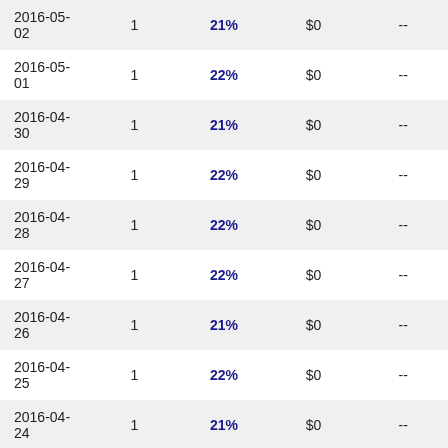| Date |  | Rate | Amount |  |
| --- | --- | --- | --- | --- |
| 2016-05-02 | 1 | 21% | $0 | -- |
| 2016-05-01 | 1 | 22% | $0 | -- |
| 2016-04-30 | 1 | 21% | $0 | -- |
| 2016-04-29 | 1 | 22% | $0 | -- |
| 2016-04-28 | 1 | 22% | $0 | -- |
| 2016-04-27 | 1 | 22% | $0 | -- |
| 2016-04-26 | 1 | 21% | $0 | -- |
| 2016-04-25 | 1 | 22% | $0 | -- |
| 2016-04-24 | 1 | 21% | $0 | -- |
| 2016-04-23 | 1 | 22% | $0 | -- |
| 2016-04-22 | 1 | 21% | $0 | -- |
| 2016-04-21 | 1 | 22% | $0 | -- |
| 2016-04-20 | 1 | 21% | $0 | -- |
| 2016-04-19 | 1 | 22% | $0 | -- |
| 2016-04-18 | 1 | 21% | $0 | -- |
| 2016-04-17 | 1 | 22% | $0 | -- |